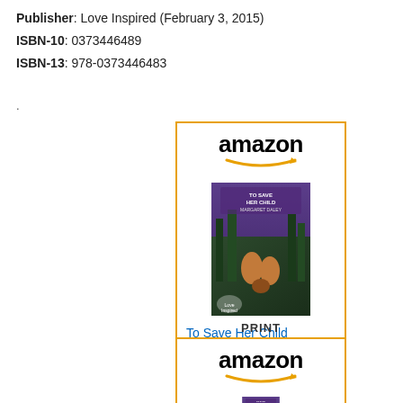Publisher: Love Inspired (February 3, 2015)
ISBN-10: 0373446489
ISBN-13: 978-0373446483
.
[Figure (other): Amazon widget showing book 'To Save Her Child (Alaskan...' priced at $5.43 with a Shop now button]
PRINT
[Figure (other): Second Amazon widget (PRINT) showing the same book cover, partially visible]